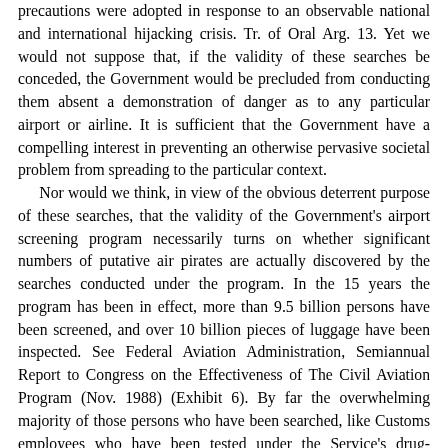precautions were adopted in response to an observable national and international hijacking crisis. Tr. of Oral Arg. 13. Yet we would not suppose that, if the validity of these searches be conceded, the Government would be precluded from conducting them absent a demonstration of danger as to any particular airport or airline. It is sufficient that the Government have a compelling interest in preventing an otherwise pervasive societal problem from spreading to the particular context.
Nor would we think, in view of the obvious deterrent purpose of these searches, that the validity of the Government's airport screening program necessarily turns on whether significant numbers of putative air pirates are actually discovered by the searches conducted under the program. In the 15 years the program has been in effect, more than 9.5 billion persons have been screened, and over 10 billion pieces of luggage have been inspected. See Federal Aviation Administration, Semiannual Report to Congress on the Effectiveness of The Civil Aviation Program (Nov. 1988) (Exhibit 6). By far the overwhelming majority of those persons who have been searched, like Customs employees who have been tested under the Service's drug-screening scheme, have proved entirely